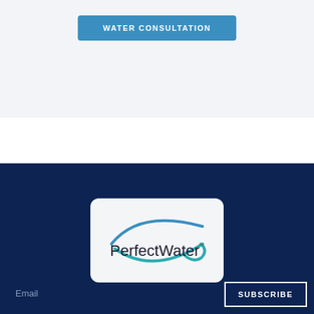WATER CONSULTATION
[Figure (logo): PerfectWater logo on light background with blue and teal swoosh arcs above the text]
Email
SUBSCRIBE